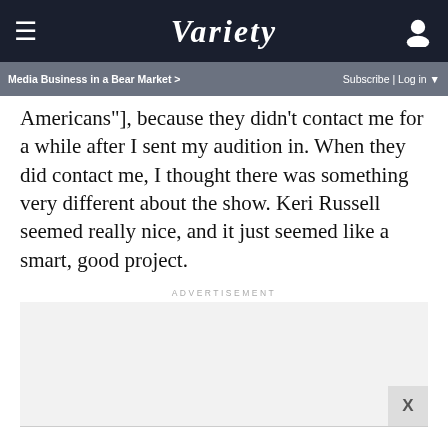VARIETY (logo)
Media Business in a Bear Market > | Subscribe | Log in ▼
Americans"], because they didn't contact me for a while after I sent my audition in. When they did contact me, I thought there was something very different about the show. Keri Russell seemed really nice, and it just seemed like a smart, good project.
ADVERTISEMENT